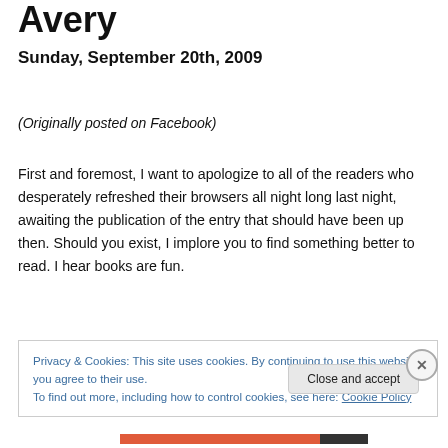Avery
Sunday, September 20th, 2009
(Originally posted on Facebook)
First and foremost, I want to apologize to all of the readers who desperately refreshed their browsers all night long last night, awaiting the publication of the entry that should have been up then. Should you exist, I implore you to find something better to read. I hear books are fun.
Privacy & Cookies: This site uses cookies. By continuing to use this website, you agree to their use.
To find out more, including how to control cookies, see here: Cookie Policy